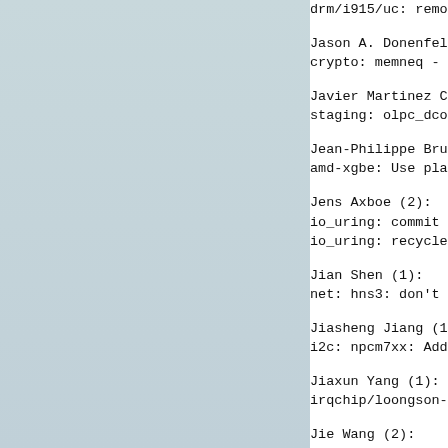drm/i915/uc: remove accidental
Jason A. Donenfeld (1):
        crypto: memneq - move into lib
Javier Martinez Canillas (1):
        staging: olpc_dcon: mark drive
Jean-Philippe Brucker (1):
        amd-xgbe: Use platform_irq_cou
Jens Axboe (2):
        io_uring: commit non-pollable
        io_uring: recycle provided buf
Jian Shen (1):
        net: hns3: don't push link sta
Jiasheng Jiang (1):
        i2c: npcm7xx: Add check for pl
Jiaxun Yang (1):
        irqchip/loongson-liointc: Use
Jie Wang (2):
        net: hns3: modify the ring par
        net: hns3: fix PF rss size ini
Jing Leng (1):
        usb: cdnsp: Fixed setting las